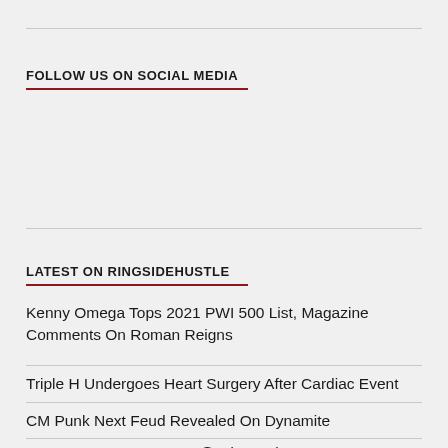FOLLOW US ON SOCIAL MEDIA
LATEST ON RINGSIDEHUSTLE
Kenny Omega Tops 2021 PWI 500 List, Magazine Comments On Roman Reigns
Triple H Undergoes Heart Surgery After Cardiac Event
CM Punk Next Feud Revealed On Dynamite
PODCAST INTERVIEW: @AdamColePro From 2012!